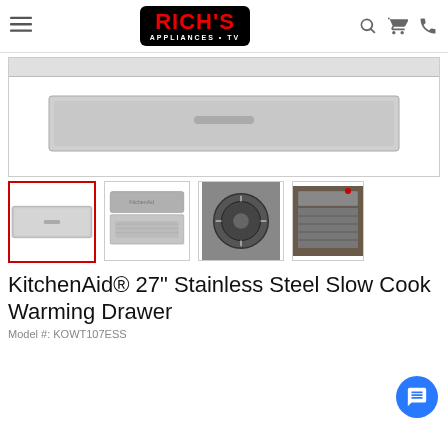Rich's Appliances • TV — navigation header with logo, search, cart, and phone icons
[Figure (photo): Main product image area showing a KitchenAid Slow Cook Warming Drawer — large white/light grey product view area with partial grey banner at top]
[Figure (photo): Thumbnail 1 (active/selected): Front view of stainless steel warming drawer — flat panel]
[Figure (photo): Thumbnail 2: Angled view of warming drawer open showing interior rack]
[Figure (photo): Thumbnail 3: Close-up of circular control knob on stainless steel surface]
[Figure (photo): Thumbnail 4: Close-up of drawer open with rack/grill inside]
KitchenAid® 27" Stainless Steel Slow Cook Warming Drawer
Model #: KOWT107ESS